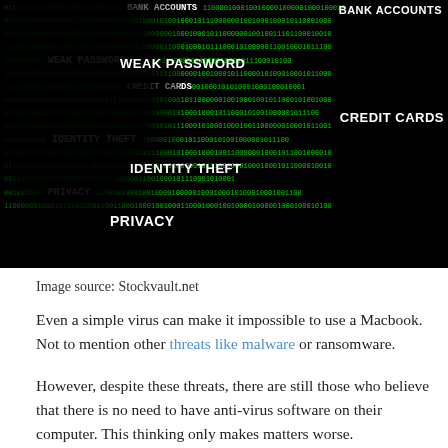[Figure (photo): Dark cybersecurity image showing a hooded hacker silhouette overlaid with green binary code and white text labels: BANK ACCOUNTS, WEAK PASSWORD, CREDIT CARDS, IDENTITY THEFT, PRIVACY]
Image source: Stockvault.net
Even a simple virus can make it impossible to use a Macbook. Not to mention other threats like malware or ransomware.
However, despite these threats, there are still those who believe that there is no need to have anti-virus software on their computer. This thinking only makes matters worse.